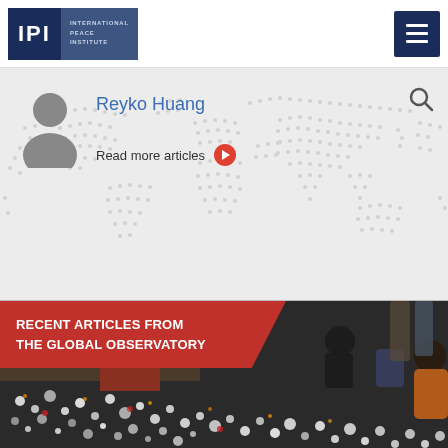IPI International Peace Institute
Reyko Huang
Read more articles
[Figure (photo): World map dotted background in light grey]
RECENT ARTICLES FROM THE GLOBAL OBSERVATORY
[Figure (photo): People lighting candles at a memorial vigil, with flowers and candles spread across the ground. Children and adults are gathered around the memorial.]